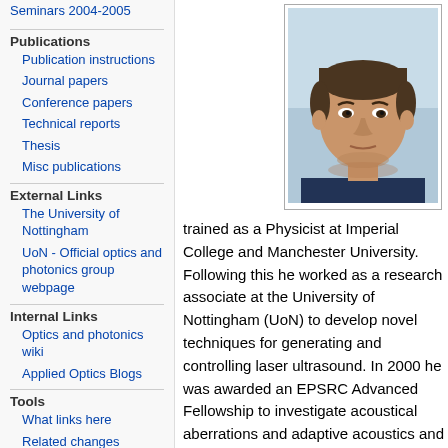Seminars 2004-2005
Publications
Publication instructions
Journal papers
Conference papers
Technical reports
Thesis
Misc publications
External Links
The University of Nottingham
UoN - Official optics and photonics group webpage
Internal Links
Optics and photonics wiki
Applied Optics Blogs
Tools
What links here
Related changes
Special pages
[Figure (photo): Headshot photo of a man, appears to be a faculty/researcher profile photo. The man has short dark hair and is wearing a dark shirt against a light background.]
trained as a Physicist at Imperial College and Manchester University. Following this he worked as a research associate at the University of Nottingham (UoN) to develop novel techniques for generating and controlling laser ultrasound. In 2000 he was awarded an EPSRC Advanced Fellowship to investigate acoustical aberrations and adaptive acoustics and more recently an EPSRC Challenging